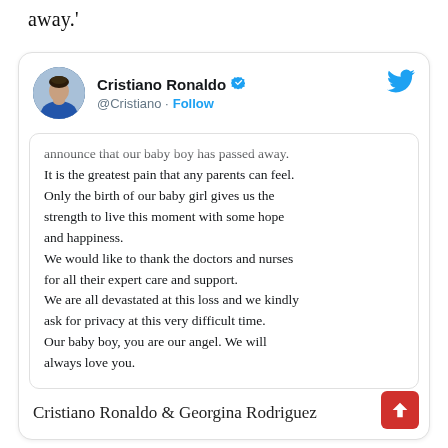away.'
[Figure (screenshot): Embedded tweet from @Cristiano (Cristiano Ronaldo) with verified badge and Follow button, showing a statement about the passing of their baby boy, signed by Cristiano Ronaldo & Georgina Rodriguez. Includes a red scroll-to-top button at bottom right.]